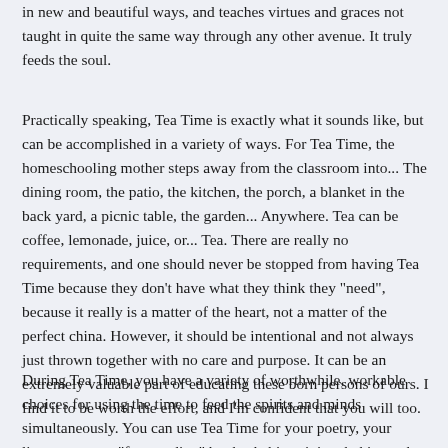in new and beautiful ways, and teaches virtues and graces not taught in quite the same way through any other avenue. It truly feeds the soul.
Practically speaking, Tea Time is exactly what it sounds like, but can be accomplished in a variety of ways. For Tea Time, the homeschooling mother steps away from the classroom into... The dining room, the patio, the kitchen, the porch, a blanket in the back yard, a picnic table, the garden... Anywhere. Tea can be coffee, lemonade, juice, or... Tea. There are really no requirements, and one should never be stopped from having Tea Time because they don't have what they think they "need", because it really is a matter of the heart, not a matter of the perfect china. However, it should be intentional and not always just thrown together with no care and purpose. It can be an extremely valuable part of educating these born persons of ours. I find it to be worth the effort, and I'm confident that you will too.
During Tea Time, you have a variety of worthwhile, workable choices for using the time to feed the spirits and minds simultaneously. You can use Tea Time for your poetry, your literature, your "free reading" books, habit training, baking, other